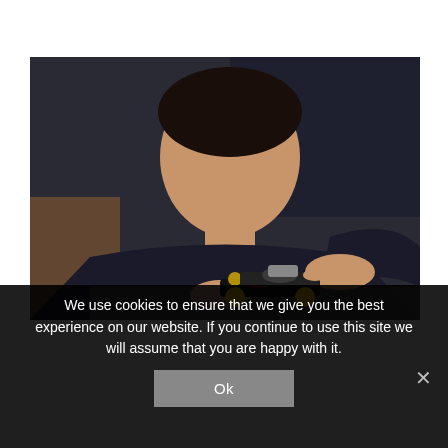[Figure (photo): A young man in a dark hoodie leaning over a table, carefully assembling a small LEGO Formula 1 racing car model with yellow and black pieces. The background is dark and blurred, with a wooden surface visible.]
We use cookies to ensure that we give you the best experience on our website. If you continue to use this site we will assume that you are happy with it.
Ok